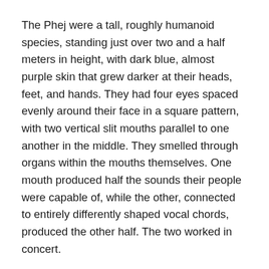The Phej were a tall, roughly humanoid species, standing just over two and a half meters in height, with dark blue, almost purple skin that grew darker at their heads, feet, and hands. They had four eyes spaced evenly around their face in a square pattern, with two vertical slit mouths parallel to one another in the middle. They smelled through organs within the mouths themselves. One mouth produced half the sounds their people were capable of, while the other, connected to entirely differently shaped vocal chords, produced the other half. The two worked in concert.
At the moment, six of the Phej were striding purposefully through the corridor of their most powerful command ship. Four wore the uniforms of security personnel, while the remaining two were officers, the equivalent of a lieutenant